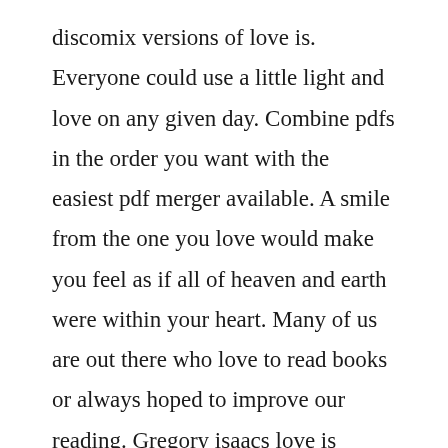discomix versions of love is. Everyone could use a little light and love on any given day. Combine pdfs in the order you want with the easiest pdf merger available. A smile from the one you love would make you feel as if all of heaven and earth were within your heart. Many of us are out there who love to read books or always hoped to improve our reading. Gregory isaacs love is overdue lyrics genius lyrics. This list of free ebooks is derived from 50 greatest love stories ever told in a book with an addition of a few others which...